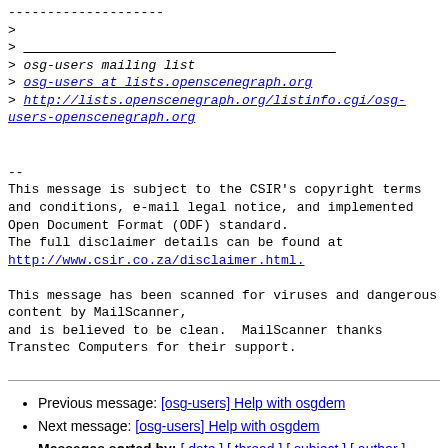--------------------
>
> ________________________________________
> osg-users mailing list
> osg-users at lists.openscenegraph.org
> http://lists.openscenegraph.org/listinfo.cgi/osg-users-openscenegraph.org
--
This message is subject to the CSIR's copyright terms and conditions, e-mail legal notice, and implemented Open Document Format (ODF) standard.
The full disclaimer details can be found at http://www.csir.co.za/disclaimer.html.

This message has been scanned for viruses and dangerous content by MailScanner,
and is believed to be clean.  MailScanner thanks Transtec Computers for their support.
Previous message: [osg-users] Help with osgdem
Next message: [osg-users] Help with osgdem
Messages sorted by: [ date ] [ thread ] [ subject ] [ author ]
More information about the osg-users mailing list